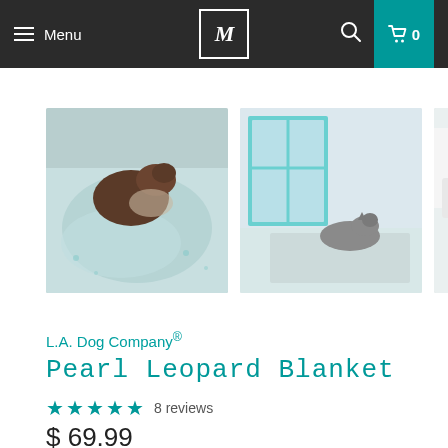Menu | M | 0
[Figure (photo): Five thumbnail photos of a Pearl Leopard Blanket with dogs/cats on it. First shows a dog burrowed in a teal/white patterned blanket. Second shows a cat lying on the blanket near a window. Third shows a dog lying on the blanket on a white sofa. Fourth shows a cat on a bed with a white blanket. Fifth is partially visible showing a light blanket.]
L.A. Dog Company®
Pearl Leopard Blanket
★★★★★ 8 reviews
$ 69.99